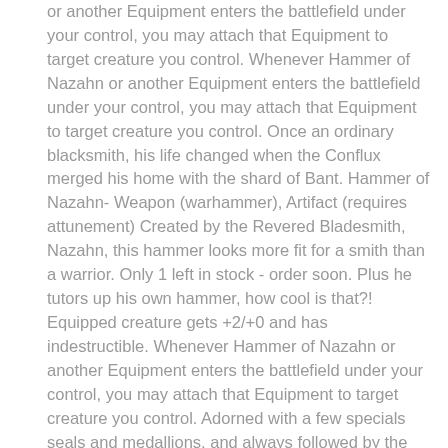or another Equipment enters the battlefield under your control, you may attach that Equipment to target creature you control. Whenever Hammer of Nazahn or another Equipment enters the battlefield under your control, you may attach that Equipment to target creature you control. Once an ordinary blacksmith, his life changed when the Conflux merged his home with the shard of Bant. Hammer of Nazahn- Weapon (warhammer), Artifact (requires attunement) Created by the Revered Bladesmith, Nazahn, this hammer looks more fit for a smith than a warrior. Only 1 left in stock - order soon. Plus he tutors up his own hammer, how cool is that?! Equipped creature gets +2/+0 and has indestructible. Whenever Hammer of Nazahn or another Equipment enters the battlefield under your control, you may attach that Equipment to target creature you control. Adorned with a few specials seals and medallions, and always followed by the scent of smoke, it otherwise appears the same as a hammer found in any forge. Hammer of